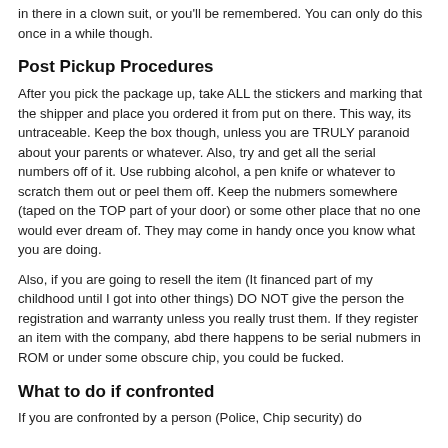in there in a clown suit, or you'll be remembered. You can only do this once in a while though.
Post Pickup Procedures
After you pick the package up, take ALL the stickers and marking that the shipper and place you ordered it from put on there. This way, its untraceable. Keep the box though, unless you are TRULY paranoid about your parents or whatever. Also, try and get all the serial numbers off of it. Use rubbing alcohol, a pen knife or whatever to scratch them out or peel them off. Keep the nubmers somewhere (taped on the TOP part of your door) or some other place that no one would ever dream of. They may come in handy once you know what you are doing.
Also, if you are going to resell the item (It financed part of my childhood until I got into other things) DO NOT give the person the registration and warranty unless you really trust them. If they register an item with the company, abd there happens to be serial nubmers in ROM or under some obscure chip, you could be fucked.
What to do if confronted
If you are confronted by a person (Police, Chip security) do